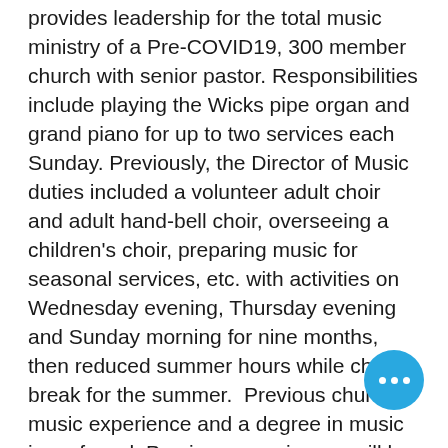provides leadership for the total music ministry of a Pre-COVID19, 300 member church with senior pastor. Responsibilities include playing the Wicks pipe organ and grand piano for up to two services each Sunday. Previously, the Director of Music duties included a volunteer adult choir and adult hand-bell choir, overseeing a children's choir, preparing music for seasonal services, etc. with activities on Wednesday evening, Thursday evening and Sunday morning for nine months, then reduced summer hours while choirs break for the summer.  Previous church music experience and a degree in music is preferred. Previous experiences will be reviewed on an individual basis. Salary is competitive.  All interested persons may submit a resume, salary requirements and references to info@immanuelucc.org .